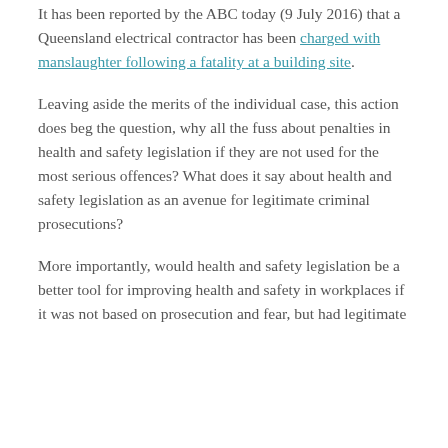It has been reported by the ABC today (9 July 2016) that a Queensland electrical contractor has been charged with manslaughter following a fatality at a building site.
Leaving aside the merits of the individual case, this action does beg the question, why all the fuss about penalties in health and safety legislation if they are not used for the most serious offences? What does it say about health and safety legislation as an avenue for legitimate criminal prosecutions?
More importantly, would health and safety legislation be a better tool for improving health and safety in workplaces if it was not based on prosecution and fear, but had legitimate